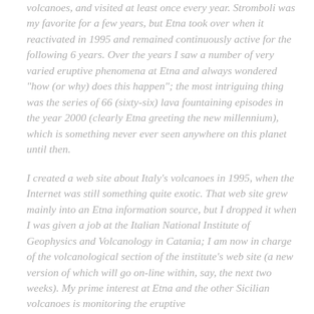volcanoes, and visited at least once every year. Stromboli was my favorite for a few years, but Etna took over when it reactivated in 1995 and remained continuously active for the following 6 years. Over the years I saw a number of very varied eruptive phenomena at Etna and always wondered "how (or why) does this happen"; the most intriguing thing was the series of 66 (sixty-six) lava fountaining episodes in the year 2000 (clearly Etna greeting the new millennium), which is something never ever seen anywhere on this planet until then.
I created a web site about Italy's volcanoes in 1995, when the Internet was still something quite exotic. That web site grew mainly into an Etna information source, but I dropped it when I was given a job at the Italian National Institute of Geophysics and Volcanology in Catania; I am now in charge of the volcanological section of the institute's web site (a new version of which will go on-line within, say, the next two weeks). My prime interest at Etna and the other Sicilian volcanoes is monitoring the eruptive